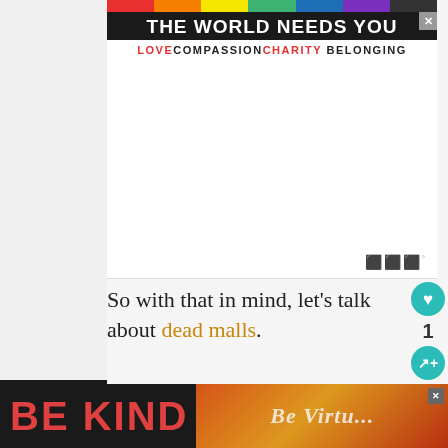[Figure (infographic): Top advertisement banner with rainbow bar, dark background title 'THE WORLD NEEDS YOU', and tagline 'LOVE COMPASSION CHARITY BELONGING'. Close button in top right corner.]
[Figure (infographic): Large white advertisement area with watermark symbol in bottom right.]
So with that in mind, let’s talk about dead malls.
[Figure (photo): Black and white photograph of an abandoned mall interior showing empty corridors and large windows.]
[Figure (infographic): WHAT'S NEXT panel showing 'Abandoned: Wonderland...' with watermark icon.]
[Figure (infographic): Bottom advertisement strip with 'BE KIND' in large red letters on dark background with decorative graphic element. Close button top right.]